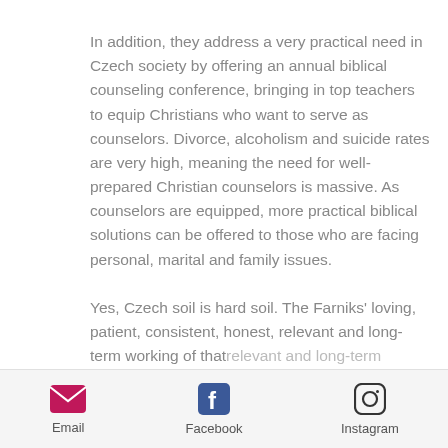In addition, they address a very practical need in Czech society by offering an annual biblical counseling conference, bringing in top teachers to equip Christians who want to serve as counselors. Divorce, alcoholism and suicide rates are very high, meaning the need for well-prepared Christian counselors is massive. As counselors are equipped, more practical biblical solutions can be offered to those who are facing personal, marital and family issues.

Yes, Czech soil is hard soil. The Farniks' loving, patient, consistent, honest, relevant and long-term working of that
Email   Facebook   Instagram